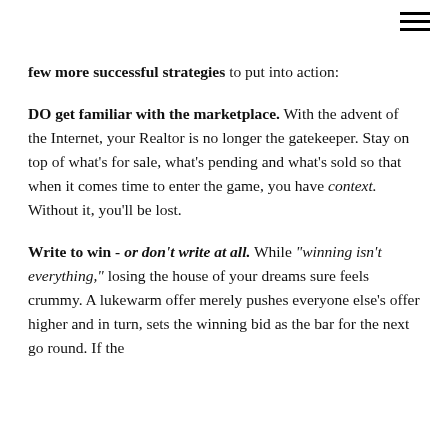≡
few more successful strategies to put into action:
DO get familiar with the marketplace. With the advent of the Internet, your Realtor is no longer the gatekeeper. Stay on top of what's for sale, what's pending and what's sold so that when it comes time to enter the game, you have context. Without it, you'll be lost.
Write to win - or don't write at all. While "winning isn't everything," losing the house of your dreams sure feels crummy. A lukewarm offer merely pushes everyone else's offer higher and in turn, sets the winning bid as the bar for the next go round. If the